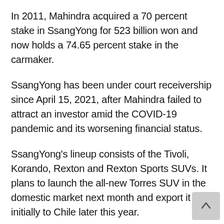In 2011, Mahindra acquired a 70 percent stake in SsangYong for 523 billion won and now holds a 74.65 percent stake in the carmaker.
SsangYong has been under court receivership since April 15, 2021, after Mahindra failed to attract an investor amid the COVID-19 pandemic and its worsening financial status.
SsangYong's lineup consists of the Tivoli, Korando, Rexton and Rexton Sports SUVs. It plans to launch the all-new Torres SUV in the domestic market next month and export it initially to Chile later this year.
On Friday, Ssangbangwool jumped 6.4 percent to 600 won, and its affiliate Kanglim Co., a special-purpose vehicle maker, also gained 8.2 percent to